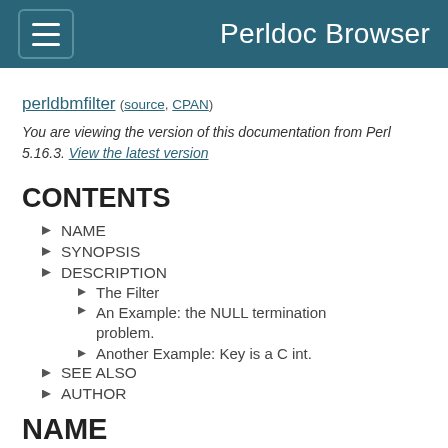Perldoc Browser
perldbmfilter (source, CPAN)
You are viewing the version of this documentation from Perl 5.16.3. View the latest version
CONTENTS
NAME
SYNOPSIS
DESCRIPTION
The Filter
An Example: the NULL termination problem.
Another Example: Key is a C int.
SEE ALSO
AUTHOR
NAME